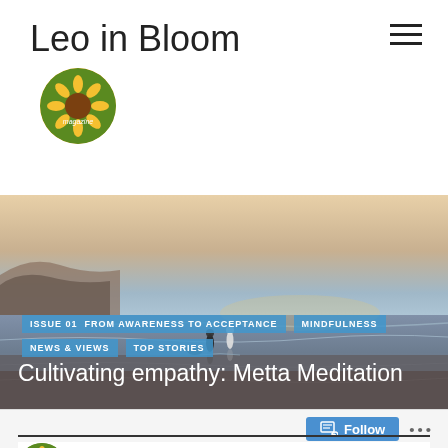Leo in Bloom
[Figure (logo): Circular logo with sunflower and text 'magazine']
[Figure (photo): Two people walking on a beach at sunset with waves and cliffs]
ISSUE 01  FROM AWARENESS TO ACCEPTANCE
MINDFULNESS
NEWS & VIEWS
TOP STORIES
Cultivating empathy: Metta Meditation
BY LEO IN BLOOM TEAM   COMMENTS 3
APRIL 26, 2021